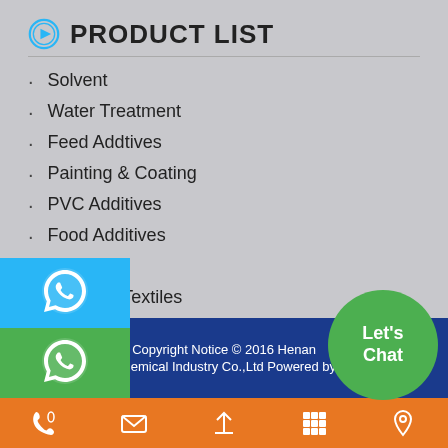PRODUCT LIST
Solvent
Water Treatment
Feed Addtives
Painting & Coating
PVC Additives
Food Additives
Detergent
Mining & Textiles
Copyright Notice © 2016 Henan Sinowin Chemical Industry Co.,Ltd Powered by MetInfo